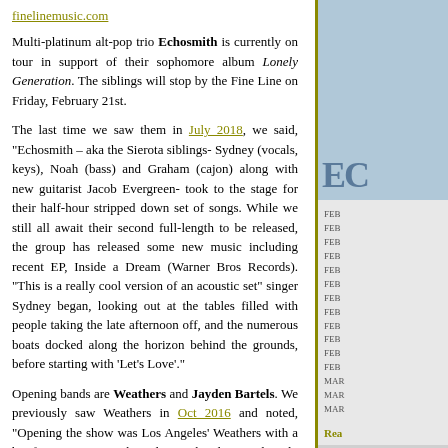finelinemusic.com
Multi-platinum alt-pop trio Echosmith is currently on tour in support of their sophomore album Lonely Generation. The siblings will stop by the Fine Line on Friday, February 21st.
The last time we saw them in July 2018, we said, "Echosmith – aka the Sierota siblings- Sydney (vocals, keys), Noah (bass) and Graham (cajon) along with new guitarist Jacob Evergreen- took to the stage for their half-hour stripped down set of songs. While we still all await their second full-length to be released, the group has released some new music including recent EP, Inside a Dream (Warner Bros Records). "This is a really cool version of an acoustic set" singer Sydney began, looking out at the tables filled with people taking the late afternoon off, and the numerous boats docked along the horizon behind the grounds, before starting with 'Let's Love'."
Opening bands are Weathers and Jayden Bartels. We previously saw Weathers in Oct 2016 and noted, "Opening the show was Los Angeles' Weathers with a brief 30-minute set. The indie-pop band currently only has two songs available for purchase ('Happy Pills' and 'I Don't Wanna Know'), which, of course, they played to the crowd. The rest of the titles on their setlist, which I've compiled, may or may not be the actual title once they release them."
Tour dates
02/15 Philadelphia, PA @ World Café Live
02/17 Toronto, ON @ Mod Club